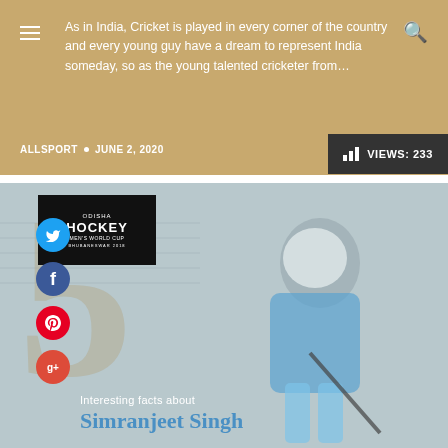As in India, Cricket is played in every corner of the country and every young guy have a dream to represent India someday, so as the young talented cricketer from…
ALLSPORT • JUNE 2, 2020   VIEWS: 233
[Figure (photo): Article thumbnail image showing a hockey player (Simranjeet Singh) in blue India jersey playing field hockey, with Odisha Hockey Men's World Cup logo, large '5' numeral watermark, social media icons (Twitter, Facebook, Pinterest, Google+), and text overlay '5 Interesting facts about Simranjeet Singh']